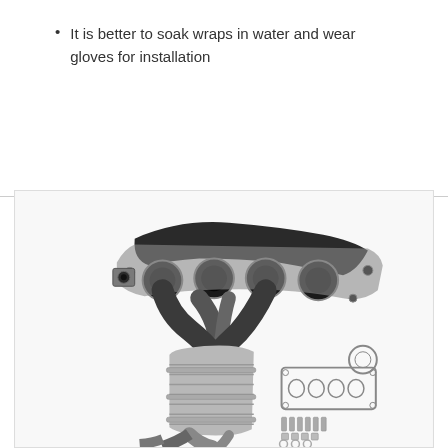It is better to soak wraps in water and wear gloves for installation
[Figure (photo): Exhaust manifold with catalytic converter assembly shown at an angle, displaying four cylinder ports with metallic silver flanges and black cast iron body. Below the manifold is a silver wrapped catalytic converter. To the right are the installation hardware pieces including a flat gasket, circular gasket, bolts, nuts, and washers arranged on a white background.]